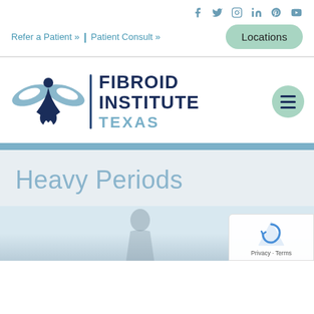Social icons: Facebook, Twitter, Instagram, LinkedIn, Pinterest, YouTube
Refer a Patient » | Patient Consult »
Locations
[Figure (logo): Fibroid Institute Texas logo with stylized figure/butterfly mark in blue-grey and navy, vertical bar separator, text reading FIBROID INSTITUTE TEXAS]
Heavy Periods
[Figure (photo): Partial photo of a person (doctor/patient) in a medical office setting, light background]